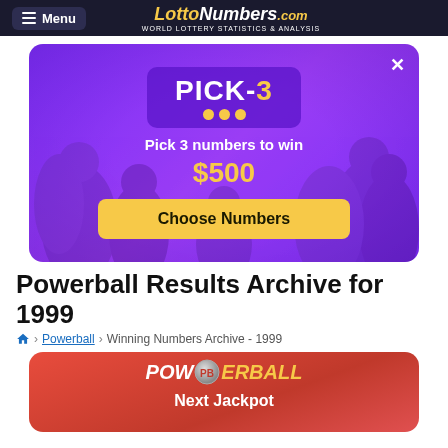Menu | LottoNumbers.com - World Lottery Statistics & Analysis
[Figure (infographic): Pick-3 advertisement: purple background with crowd, Pick-3 logo, 'Pick 3 numbers to win $500', yellow 'Choose Numbers' button, X close button]
Powerball Results Archive for 1999
Home > Powerball > Winning Numbers Archive - 1999
[Figure (infographic): Powerball red gradient card showing Powerball logo and 'Next Jackpot' label]